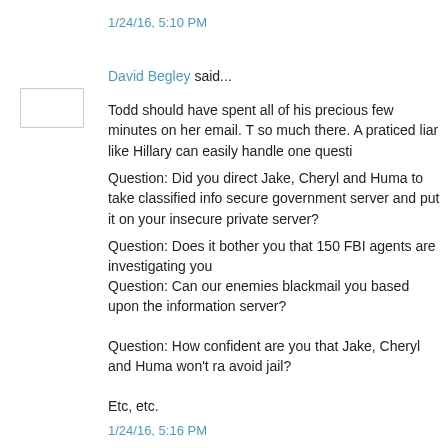1/24/16, 5:10 PM
David Begley said...
Todd should have spent all of his precious few minutes on her email. T so much there. A praticed liar like Hillary can easily handle one questi
Question: Did you direct Jake, Cheryl and Huma to take classified info secure government server and put it on your insecure private server?
Question: Does it bother you that 150 FBI agents are investigating you
Question: Can our enemies blackmail you based upon the information server?
Question: How confident are you that Jake, Cheryl and Huma won't ra avoid jail?
Etc, etc.
1/24/16, 5:16 PM